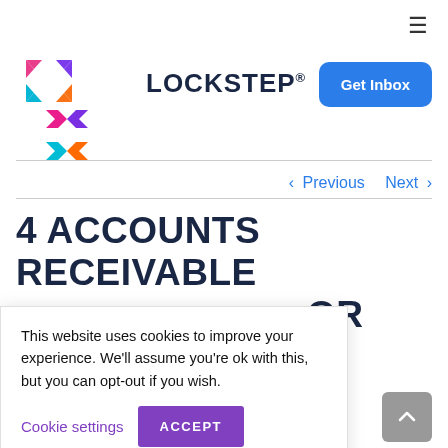≡
[Figure (logo): Lockstep logo with colorful X icon and bold LOCKSTEP wordmark]
Get Inbox
< Previous   Next >
4 ACCOUNTS RECEIVABLE [BEST PRACTICES] FOR THE [...]
...one of the executive's when it comes to accounts receivable management. You
This website uses cookies to improve your experience. We'll assume you're ok with this, but you can opt-out if you wish.
Cookie settings   ACCEPT